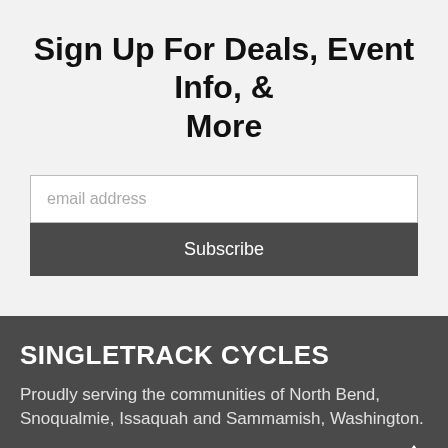Sign Up For Deals, Event Info, & More
email address
Subscribe
SINGLETRACK CYCLES
Proudly serving the communities of North Bend, Snoqualmie, Issaquah and Sammamish, Washington.
119 W North Bend Way